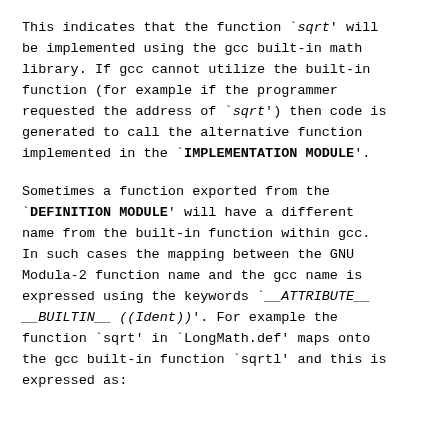This indicates that the function `sqrt' will be implemented using the gcc built-in math library. If gcc cannot utilize the built-in function (for example if the programmer requested the address of `sqrt') then code is generated to call the alternative function implemented in the `IMPLEMENTATION MODULE'.
Sometimes a function exported from the `DEFINITION MODULE' will have a different name from the built-in function within gcc. In such cases the mapping between the GNU Modula-2 function name and the gcc name is expressed using the keywords `__ATTRIBUTE__ __BUILTIN__ ((Ident))'. For example the function `sqrt' in `LongMath.def' maps onto the gcc built-in function `sqrtl' and this is expressed as: